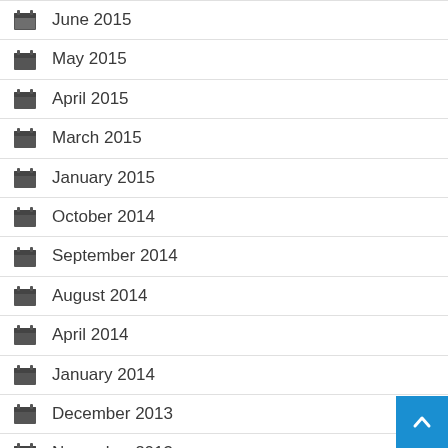June 2015
May 2015
April 2015
March 2015
January 2015
October 2014
September 2014
August 2014
April 2014
January 2014
December 2013
November 2013
September 2013